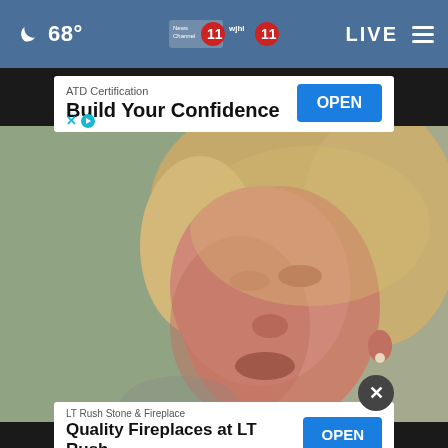68° News Channel 11 wjhl 11 LIVE
[Figure (screenshot): Advertisement banner: ATD Certification - Build Your Confidence with OPEN button]
[Figure (photo): Close-up photograph of a blonde woman speaking, slightly blurred background]
[Figure (screenshot): Advertisement banner: LT Rush Stone & Fireplace - Quality Fireplaces at LT Rush with OPEN button]